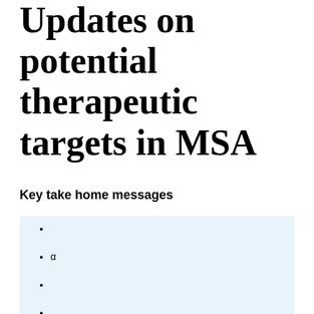Updates on potential therapeutic targets in MSA
Key take home messages
α